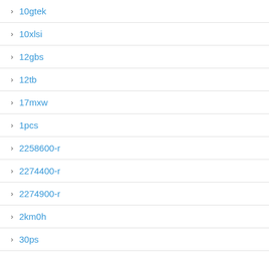10gtek
10xlsi
12gbs
12tb
17mxw
1pcs
2258600-r
2274400-r
2274900-r
2km0h
30ps